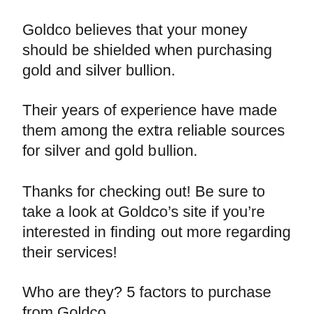Goldco believes that your money should be shielded when purchasing gold and silver bullion.
Their years of experience have made them among the extra reliable sources for silver and gold bullion.
Thanks for checking out! Be sure to take a look at Goldco’s site if you’re interested in finding out more regarding their services!
Who are they? 5 factors to purchase from Goldco
Goldco is a leading precious metal carrier that has actually remained in the business for over 20 years. They use a secure customer support center that allows